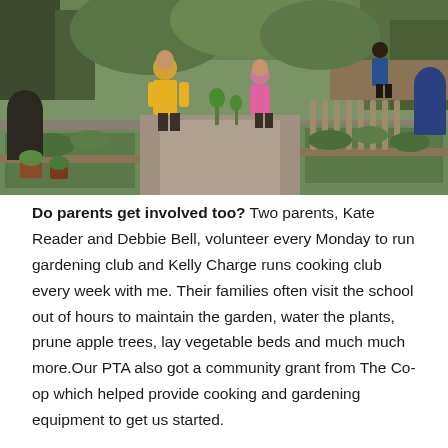[Figure (photo): Outdoor school garden with raised vegetable beds and people working, including a person in a yellow jacket and another in a pink top. Wooden raised beds with various plants and a gravel path visible.]
Do parents get involved too? Two parents, Kate Reader and Debbie Bell, volunteer every Monday to run gardening club and Kelly Charge runs cooking club every week with me. Their families often visit the school out of hours to maintain the garden, water the plants, prune apple trees, lay vegetable beds and much much more.Our PTA also got a community grant from The Co-op which helped provide cooking and gardening equipment to get us started.

How have you been developing a fork-to-plate culture? It is a slow work in progress, but fast and convenient is beginning to lose its attraction in